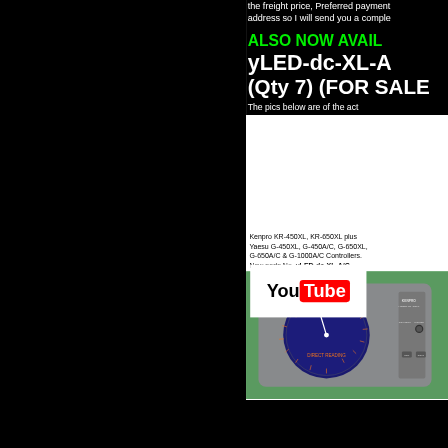the freight price, Preferred payment address so I will send you a complete
ALSO NOW AVAIL
yLED-dc-XL-A
(Qty 7) (FOR SALE
The pics below are of the act
[Figure (photo): Product label text: Kenpro KR-450XL, KR-650XL plus Yaesu G-450XL, G-450A/C, G-650XL, G-650A/C & G-1000A/C Controllers. New parts No. yLED-dc-XL-A/C. Below the text is a photo of a Kenpro KR-450XL rotator controller with a circular dial/meter face on a green background.]
[Figure (logo): YouTube logo: 'You' in black text followed by 'Tube' in white text on red rounded rectangle background]